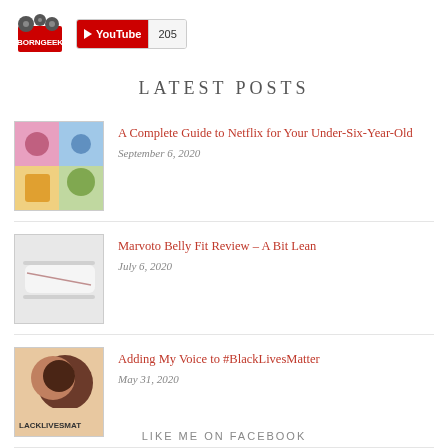[Figure (logo): BornGeek logo - pixel art style with gears and text BORNGEEK]
[Figure (logo): YouTube subscribe badge showing 205 subscribers]
LATEST POSTS
[Figure (photo): Thumbnail for Netflix for Under-Six-Year-Old post - colorful children's content collage]
A Complete Guide to Netflix for Your Under-Six-Year-Old
September 6, 2020
[Figure (photo): Thumbnail for Marvoto Belly Fit Review - white device on light background]
Marvoto Belly Fit Review – A Bit Lean
July 6, 2020
[Figure (photo): Thumbnail for BlackLivesMatter post - illustrated graphic with text BLACKLIVESMAT]
Adding My Voice to #BlackLivesMatter
May 31, 2020
LIKE ME ON FACEBOOK